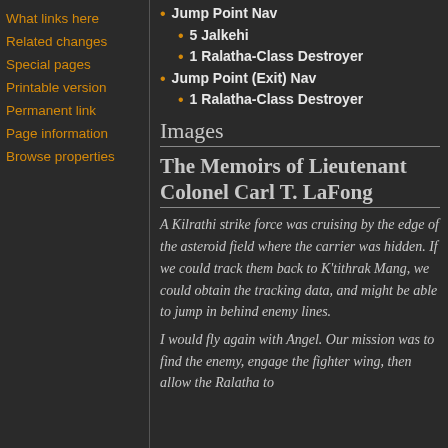What links here
Related changes
Special pages
Printable version
Permanent link
Page information
Browse properties
Jump Point Nav (partial, top cut off)
5 Jalkehi
1 Ralatha-Class Destroyer
Jump Point (Exit) Nav
1 Ralatha-Class Destroyer
Images
The Memoirs of Lieutenant Colonel Carl T. LaFong
A Kilrathi strike force was cruising by the edge of the asteroid field where the carrier was hidden. If we could track them back to K'tithrak Mang, we could obtain the tracking data, and might be able to jump in behind enemy lines.
I would fly again with Angel. Our mission was to find the enemy, engage the fighter wing, then allow the Ralatha to